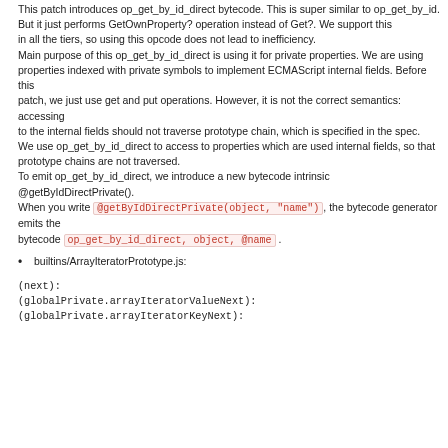This patch introduces op_get_by_id_direct bytecode. This is super similar to op_get_by_id.
But it just performs GetOwnProperty? operation instead of Get?. We support this
in all the tiers, so using this opcode does not lead to inefficiency.
Main purpose of this op_get_by_id_direct is using it for private properties. We are using
properties indexed with private symbols to implement ECMAScript internal fields. Before this
patch, we just use get and put operations. However, it is not the correct semantics: accessing
to the internal fields should not traverse prototype chain, which is specified in the spec.
We use op_get_by_id_direct to access to properties which are used internal fields, so that
prototype chains are not traversed.
To emit op_get_by_id_direct, we introduce a new bytecode intrinsic @getByIdDirectPrivate().
When you write @getByIdDirectPrivate(object, "name"), the bytecode generator emits the
bytecode op_get_by_id_direct, object, @name .
builtins/ArrayIteratorPrototype.js:
(next):
(globalPrivate.arrayIteratorValueNext):
(globalPrivate.arrayIteratorKeyNext):